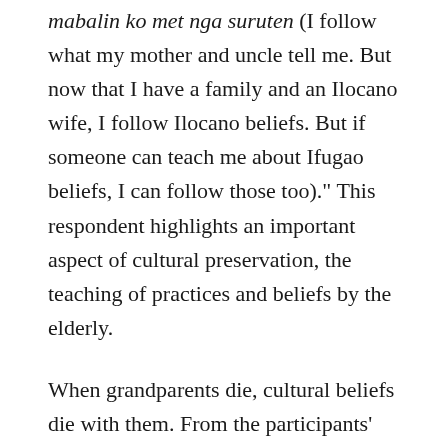mabalin ko met nga suruten (I follow what my mother and uncle tell me. But now that I have a family and an Ilocano wife, I follow Ilocano beliefs. But if someone can teach me about Ifugao beliefs, I can follow those too)." This respondent highlights an important aspect of cultural preservation, the teaching of practices and beliefs by the elderly.
When grandparents die, cultural beliefs die with them. From the participants' interviews, it was clear that the primary transmitter of cultural beliefs and practices were the grandparents, but mostly the grandfather. Sadly, when this person dies, so do the beliefs, the traditions